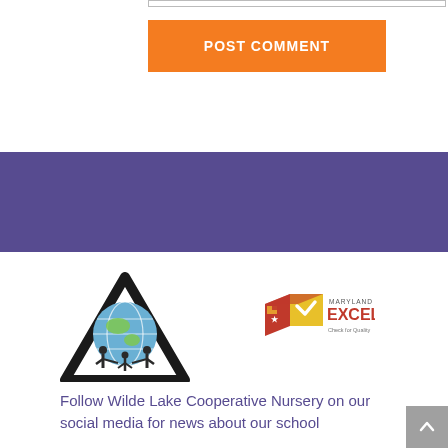[Figure (screenshot): Orange POST COMMENT button on white background]
[Figure (other): Purple/blue banner band across the page]
[Figure (logo): Wilde Lake Cooperative Nursery logo - triangle with globe and figures]
[Figure (logo): Maryland EXCELS Check for Quality logo - red/yellow/green cube with checkmark]
Follow Wilde Lake Cooperative Nursery on our social media for news about our school